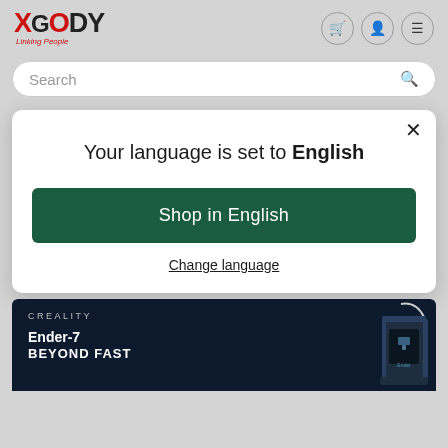[Figure (logo): XCODY logo with red X and black CODY text, tagline 'Linking People' in red italic below]
[Figure (screenshot): Navigation icons: shopping cart, user profile, and hamburger menu in circular bordered buttons]
Search
Your language is set to English
Shop in English
Change language
[Figure (screenshot): CREALITY Ender-7 BEYOND FAST product banner with dark navy background and 3D printer image]